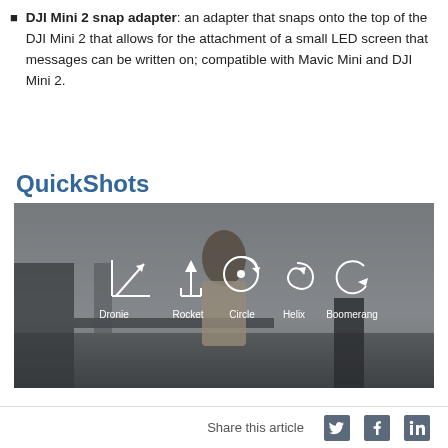DJI Mini 2 snap adapter: an adapter that snaps onto the top of the DJI Mini 2 that allows for the attachment of a small LED screen that messages can be written on; compatible with Mavic Mini and DJI Mini 2.
QuickShots
[Figure (screenshot): Screenshot of DJI QuickShots UI showing icons and labels for five flight modes: Dronie, Rocket, Circle, Helix, Boomerang, overlaid on a blurred photo of a person standing outdoors.]
Share this article